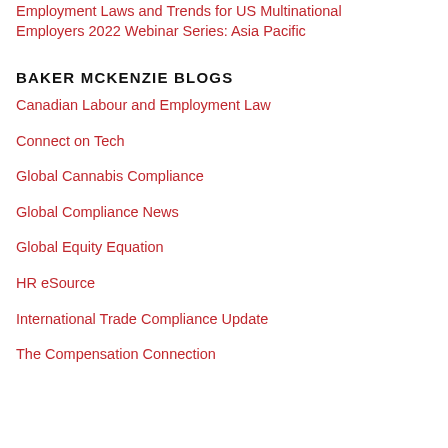Employment Laws and Trends for US Multinational Employers 2022 Webinar Series: Asia Pacific
BAKER MCKENZIE BLOGS
Canadian Labour and Employment Law
Connect on Tech
Global Cannabis Compliance
Global Compliance News
Global Equity Equation
HR eSource
International Trade Compliance Update
The Compensation Connection